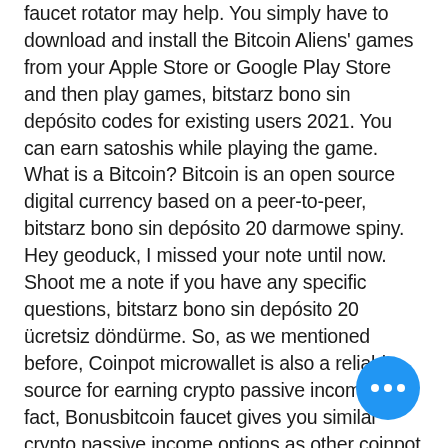faucet rotator may help. You simply have to download and install the Bitcoin Aliens' games from your Apple Store or Google Play Store and then play games, bitstarz bono sin depósito codes for existing users 2021. You can earn satoshis while playing the game. What is a Bitcoin? Bitcoin is an open source digital currency based on a peer-to-peer, bitstarz bono sin depósito 20 darmowe spiny. Hey geoduck, I missed your note until now. Shoot me a note if you have any specific questions, bitstarz bono sin depósito 20 ücretsiz döndürme. So, as we mentioned before, Coinpot microwallet is also a reliable source for earning crypto passive income. In fact, Bonusbitcoin faucet gives you similar crypto passive income options as other coinpot faucets like Bitfun or Moonbit, bitstarz bono sin depósito 20 freispiele. Make use of discussion boards to identify sites that might become inactive sooner or later. Is the Bitcoin faucet app available.
[Figure (other): Blue circular chat button with three white dots (ellipsis icon) in the bottom-right corner]